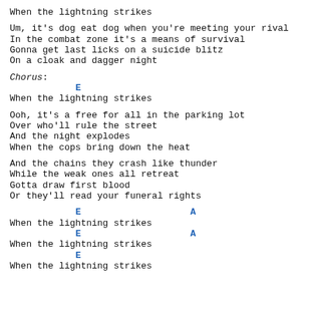When the lightning strikes
Um, it's dog eat dog when you're meeting your rival
In the combat zone it's a means of survival
Gonna get last licks on a suicide blitz
On a cloak and dagger night
Chorus:
E
When the lightning strikes
Ooh, it's a free for all in the parking lot
Over who'll rule the street
And the night explodes
When the cops bring down the heat
And the chains they crash like thunder
While the weak ones all retreat
Gotta draw first blood
Or they'll read your funeral rights
E                    A
When the lightning strikes
            E                    A
When the lightning strikes
            E
When the lightning strikes